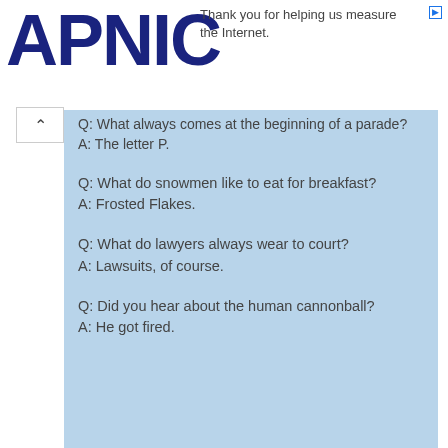[Figure (logo): APNIC logo in dark navy blue bold text]
Thank you for helping us measure the Internet.
Q: What always comes at the beginning of a parade?
A: The letter P.
Q: What do snowmen like to eat for breakfast?
A: Frosted Flakes.
Q: What do lawyers always wear to court?
A: Lawsuits, of course.
Q: Did you hear about the human cannonball?
A: He got fired.